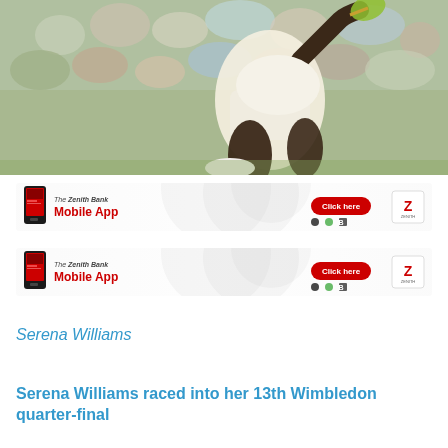[Figure (photo): Tennis player Serena Williams mid-serve at Wimbledon, wearing white outfit, with crowd visible in background]
[Figure (other): Zenith Bank Mobile App advertisement banner with phone image, 'Click here' button, and app store icons]
[Figure (other): Zenith Bank Mobile App advertisement banner (duplicate) with phone image, 'Click here' button, and app store icons]
Serena Williams
Serena Williams raced into her 13th Wimbledon quarter-final